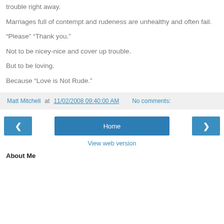trouble right away.
Marriages full of contempt and rudeness are unhealthy and often fail.
“Please” “Thank you.”
Not to be nicey-nice and cover up trouble.
But to be loving.
Because “Love is Not Rude.”
Matt Mitchell at 11/02/2008 09:40:00 AM    No comments:
Home
View web version
About Me